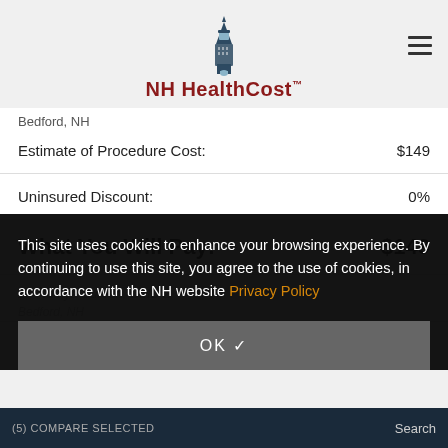NH HealthCost
Bedford, NH
| Label | Value |
| --- | --- |
| Estimate of Procedure Cost: | $149 |
| Uninsured Discount: | 0% |
| What You Will Pay: | $149 |
This site uses cookies to enhance your browsing experience. By continuing to use this site, you agree to the use of cookies, in accordance with the NH website Privacy Policy
OK ✓
Ramya Suresh, DMD 2 — Bedford, NH
Estimate of Procedure Cost: $149
(5) COMPARE SELECTED   Search